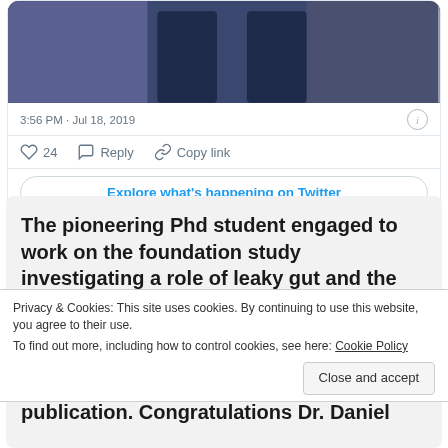[Figure (screenshot): Partial photo of two people standing, wearing dark navy clothing, cropped at torso/legs level.]
3:56 PM · Jul 18, 2019
♡ 24   Reply   Copy link
Explore what's happening on Twitter
The pioneering Phd student engaged to work on the foundation study investigating a role of leaky gut and the intestinal microbiota in the
Privacy & Cookies: This site uses cookies. By continuing to use this website, you agree to their use.
To find out more, including how to control cookies, see here: Cookie Policy
Close and accept
publication. Congratulations Dr. Daniel